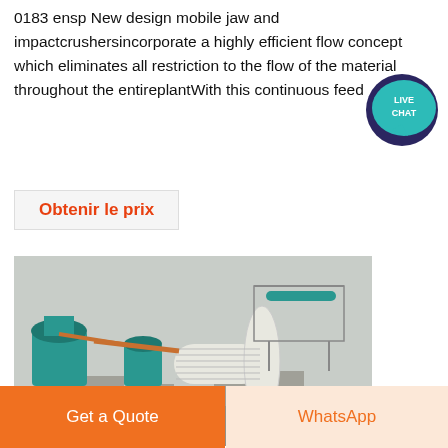0183 ensp New design mobile jaw and impactcrushersincorporate a highly efficient flow concept which eliminates all restriction to the flow of the material throughout the entireplantWith this continuous feed
[Figure (illustration): Live chat bubble icon — teal speech bubble with 'LIVE CHAT' text in white on dark navy background]
Obtenir le prix
[Figure (photo): Industrial mining/milling plant with large teal cylindrical ball mill, spiral classifiers, conveyor equipment on concrete foundations, workers in green jackets, overcast winter conditions]
Create
Get a Quote
WhatsApp